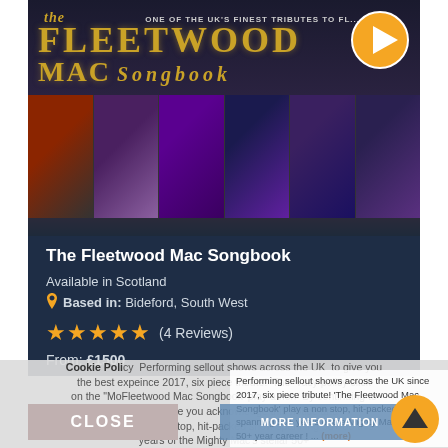[Figure (photo): The Fleetwood Mac Songbook band promotional banner with golden Art Deco logotype on dark blue/purple background, with a play button icon in top right corner]
[Figure (photo): Strip of six band performance photos showing musicians on stage in concert lighting]
The Fleetwood Mac Songbook
Available in Scotland
Based in: Bideford, South West
★★★★★ (4 Reviews)
From: £1500
Performing sellout shows across the UK since 2017, six piece tribute! 'The Fleetwood Mac Songbook' play a non stop, hit-packed show spanning 50+ years of the Mighty Mac's stellar 50+ year career ! ... (more)
Cookie Policy  We use cookies to give you the best experience possible. For privacy policy click on the "More Information" button. By continuing to use our website you acknowledge this notice and give your consent for us to do this.
CLOSE
MORE INFORMATION